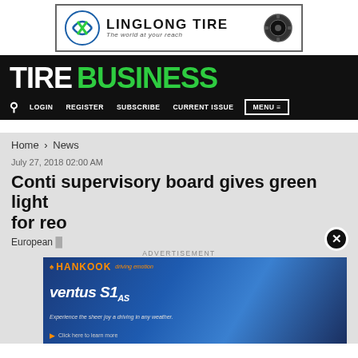[Figure (logo): Linglong Tire advertisement banner with logo and tagline 'The world at your reach']
TIRE BUSINESS
LOGIN   REGISTER   SUBSCRIBE   CURRENT ISSUE   MENU
Home > News
July 27, 2018 02:00 AM
Conti supervisory board gives green light for reo
European b
[Figure (photo): Hankook Ventus S1 AS advertisement showing a blue sports car with Hankook branding. 'ventus S1as - Experience the sheer joy of driving in any weather. Click here to learn more']
ADVERTISEMENT